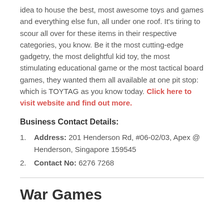idea to house the best, most awesome toys and games and everything else fun, all under one roof. It's tiring to scour all over for these items in their respective categories, you know. Be it the most cutting-edge gadgetry, the most delightful kid toy, the most stimulating educational game or the most tactical board games, they wanted them all available at one pit stop: which is TOYTAG as you know today. Click here to visit website and find out more.
Business Contact Details:
Address: 201 Henderson Rd, #06-02/03, Apex @ Henderson, Singapore 159545
Contact No: 6276 7268
War Games